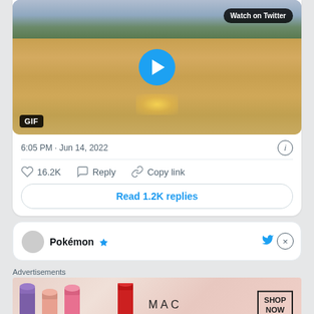[Figure (screenshot): Twitter/X post screenshot showing a video/GIF thumbnail of a Pokemon game scene with a play button overlay and 'Watch on Twitter' badge. The thumbnail shows a 3D Pokemon game environment with sandy ground and green grass. A 'GIF' badge appears in the bottom left.]
6:05 PM · Jun 14, 2022
16.2K  Reply  Copy link
Read 1.2K replies
Pokémon
Advertisements
[Figure (photo): MAC Cosmetics advertisement banner showing colorful lipsticks on the left, MAC logo in center, and SHOP NOW box on the right.]